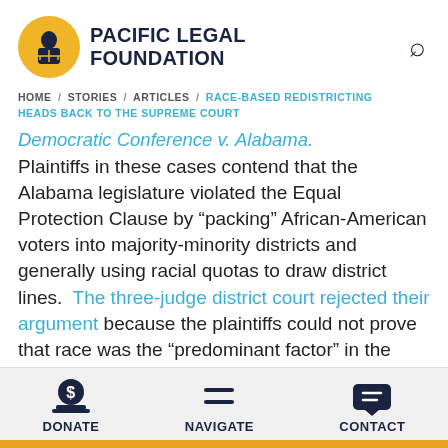PACIFIC LEGAL FOUNDATION
HOME / STORIES / ARTICLES / RACE-BASED REDISTRICTING HEADS BACK TO THE SUPREME COURT
Democratic Conference v. Alabama.
Plaintiffs in these cases contend that the Alabama legislature violated the Equal Protection Clause by "packing" African-American voters into majority-minority districts and generally using racial quotas to draw district lines. The three-judge district court rejected their argument because the plaintiffs could not prove that race was the "predominant factor" in the redistricting
DONATE  NAVIGATE  CONTACT